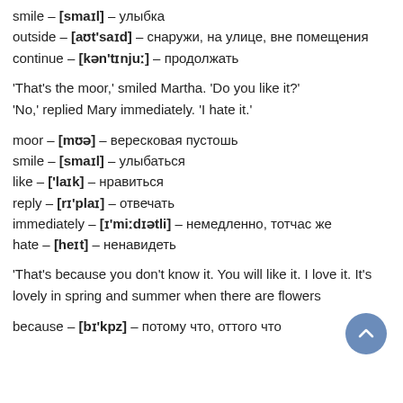smile – [smaɪl] – улыбка
outside – [aʊt'saɪd] – снаружи, на улице, вне помещения
continue – [kən'tɪnjuː] – продолжать
'That's the moor,' smiled Martha. 'Do you like it?'
'No,' replied Mary immediately. 'I hate it.'
moor – [mʊə] – вересковая пустошь
smile – [smaɪl] – улыбаться
like – ['laɪk] – нравиться
reply – [rɪ'plaɪ] – отвечать
immediately – [ɪ'miːdɪətli] – немедленно, тотчас же
hate – [heɪt] – ненавидеть
'That's because you don't know it. You will like it. I love it. It's lovely in spring and summer when there are flowers
because – [bɪ'kpz] – потому что, оттого что